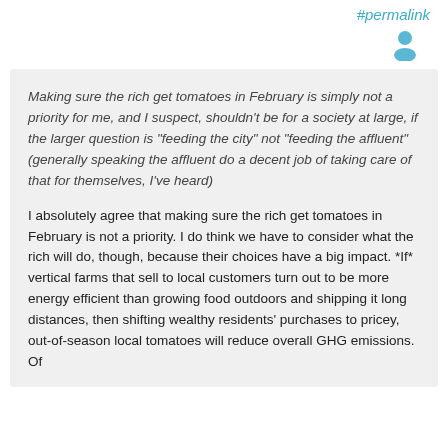#permalink
[Figure (illustration): Blue user/person icon silhouette]
Making sure the rich get tomatoes in February is simply not a priority for me, and I suspect, shouldn't be for a society at large, if the larger question is "feeding the city" not "feeding the affluent" (generally speaking the affluent do a decent job of taking care of that for themselves, I've heard)
I absolutely agree that making sure the rich get tomatoes in February is not a priority. I do think we have to consider what the rich will do, though, because their choices have a big impact. *If* vertical farms that sell to local customers turn out to be more energy efficient than growing food outdoors and shipping it long distances, then shifting wealthy residents' purchases to pricey, out-of-season local tomatoes will reduce overall GHG emissions. Of